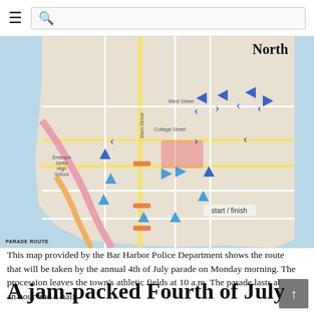≡  🔍
[Figure (map): Parade route map of Bar Harbor provided by the Bar Harbor Police Department, showing the annual 4th of July parade route with blue directional arrows, start/finish point, and compass North label. PARADE ROUTE label at bottom left.]
This map provided by the Bar Harbor Police Department shows the route that will be taken by the annual 4th of July parade on Monday morning. The procession leaves the town's athletic fields at 10 a.m. The parade lasts about an hour and a half.
A jam-packed Fourth of July